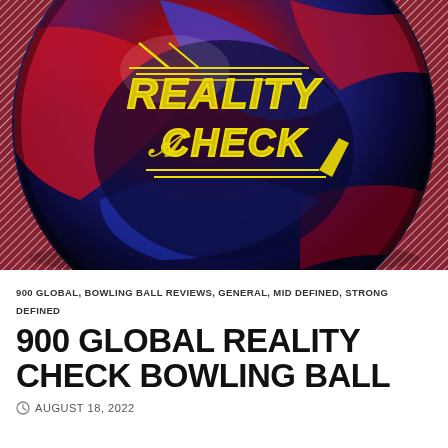[Figure (photo): Close-up photo of a 900 Global Reality Check bowling ball with red, blue, and black swirl pattern. The ball features a yellow outline logo reading 'REALITY CHECK' in bold stylized lettering with decorative lightning bolt and horizontal line graphic elements.]
900 GLOBAL, BOWLING BALL REVIEWS, GENERAL, MID DEFINED, STRONG DEFINED
900 GLOBAL REALITY CHECK BOWLING BALL
AUGUST 18, 2022